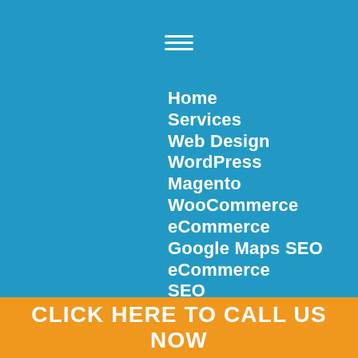[Figure (other): Hamburger menu icon (three horizontal white lines) on blue background]
Home
Services
Web Design
WordPress
Magento
WooCommerce
eCommerce
Google Maps SEO
eCommerce
SEO
Google Ads
Digital Assessment
Our Brands
CLICK HERE TO CALL US NOW